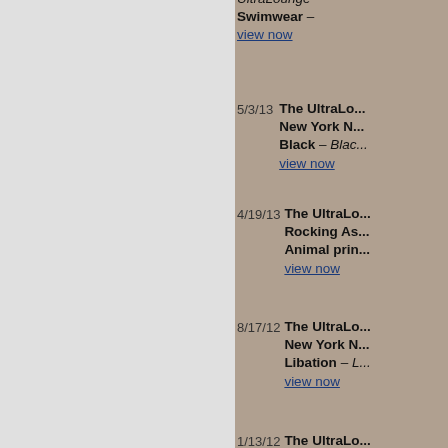UltraLounge Swimwear – view now
5/3/13 The UltraLo... New York N... Black – Blac... view now
4/19/13 The UltraLo... Rocking As... Animal prin... view now
8/17/12 The UltraLo... New York N... Libation – L... view now
1/13/12 The UltraLo... Night Life S... Big Bags A... view now
11/12/10 The UltraLo... view now